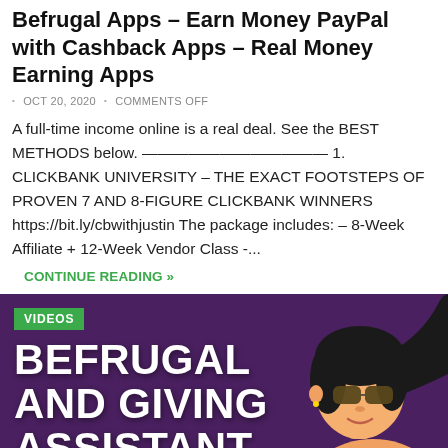Befrugal Apps – Earn Money PayPal with Cashback Apps – Real Money Earning Apps
OCT 20, 2020 • COMMENTS OFF
A full-time income online is a real deal. See the BEST METHODS below. ———————————— 1. CLICKBANK UNIVERSITY – THE EXACT FOOTSTEPS OF PROVEN 7 AND 8-FIGURE CLICKBANK WINNERS https://bit.ly/cbwithjustin The package includes: – 8-Week Affiliate + 12-Week Vendor Class -...
CONTINUE READING »
[Figure (illustration): Promotional banner with dark purple background, a green 'VIDEOS' badge in the top left, large white bold text reading 'BEFRUGAL AND GIVING ASSISTANT CASHBACK' on the left, and a cartoon illustration of a woman with dark hair and sunglasses on the right.]